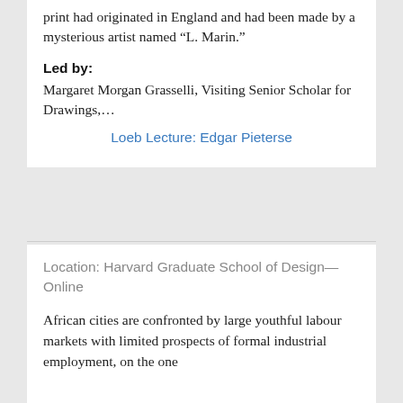print had originated in England and had been made by a mysterious artist named “L. Marin.”
Led by:
Margaret Morgan Grasselli, Visiting Senior Scholar for Drawings,…
Loeb Lecture: Edgar Pieterse
Location: Harvard Graduate School of Design—Online
African cities are confronted by large youthful labour markets with limited prospects of formal industrial employment, on the one